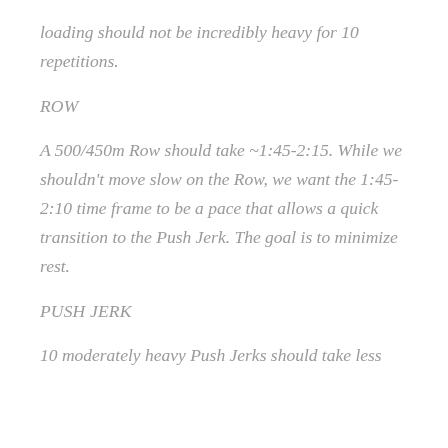loading should not be incredibly heavy for 10 repetitions.
ROW
A 500/450m Row should take ~1:45-2:15. While we shouldn't move slow on the Row, we want the 1:45-2:10 time frame to be a pace that allows a quick transition to the Push Jerk. The goal is to minimize rest.
PUSH JERK
10 moderately heavy Push Jerks should take less